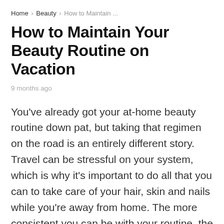Home › Beauty › How to Maintain ...
How to Maintain Your Beauty Routine on Vacation
9 months ago
You've already got your at-home beauty routine down pat, but taking that regimen on the road is an entirely different story. Travel can be stressful on your system, which is why it's important to do all that you can to take care of your hair, skin and nails while you're away from home. The more consistent you can be with your routine, the better you'll look and feel.
Read on for tips on how to make the best use of...